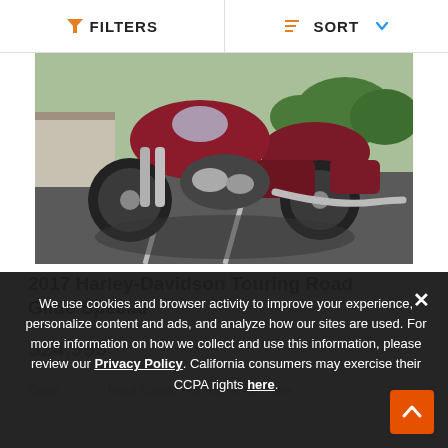FILTERS   SORT
[Figure (photo): Dark red Harley-Davidson touring motorcycle parked on a parking lot, front-low angle view, with saddlebags visible. Trees and a building in the background.]
2017 Harley-Davidson Touring Road Glide Special
$24,999
Color   Hard Candy Hot Rod Red Flake
We use cookies and browser activity to improve your experience, personalize content and ads, and analyze how our sites are used. For more information on how we collect and use this information, please review our Privacy Policy. California consumers may exercise their CCPA rights here.